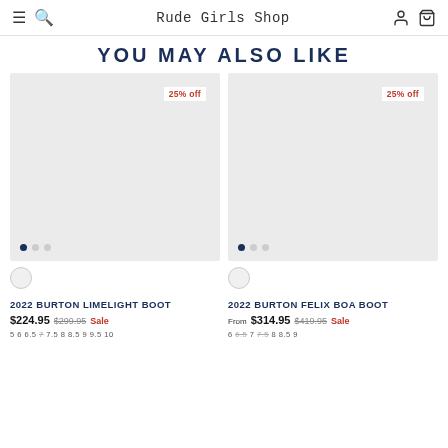Rude Girls Shop
YOU MAY ALSO LIKE
[Figure (photo): Product image placeholder for 2022 Burton Limelight Boot with 25% off badge and carousel dots]
[Figure (photo): Product image placeholder for 2022 Burton Felix Boa Boot with 25% off badge and carousel dots]
2022 BURTON LIMELIGHT BOOT
$224.95 $299.95 Sale
5 6 6.5 7 7.5 8 8.5 9 9.5 10
2022 BURTON FELIX BOA BOOT
From $314.95 $419.95 Sale
6 6.5 7 7.5 8 8.5 9